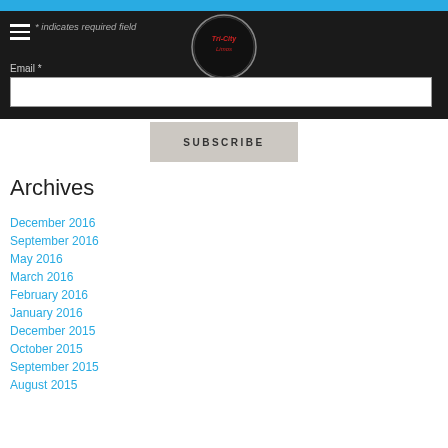* indicates required field
Email *
SUBSCRIBE
Archives
December 2016
September 2016
May 2016
March 2016
February 2016
January 2016
December 2015
October 2015
September 2015
August 2015